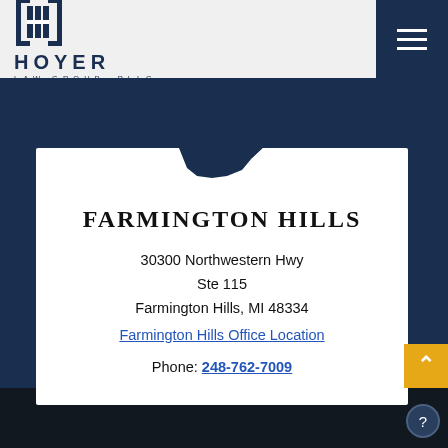[Figure (logo): Hoyer Law Group, PLLC logo with stylized H icon and text]
[Figure (illustration): Dark navy blue silhouette of Michigan state map]
FARMINGTON HILLS
30300 Northwestern Hwy
Ste 115
Farmington Hills, MI 48334
Farmington Hills Office Location
Phone: 248-762-7009